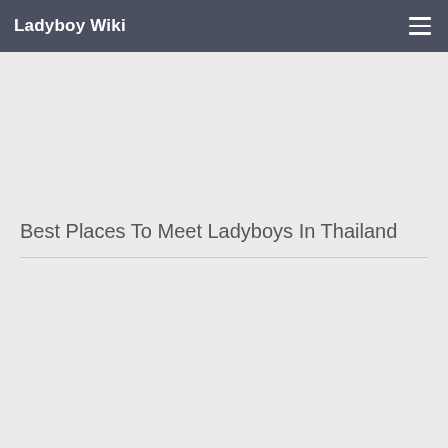Ladyboy Wiki
Best Places To Meet Ladyboys In Thailand